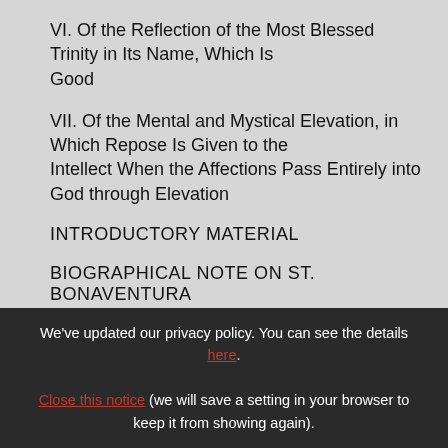VI. Of the Reflection of the Most Blessed Trinity in Its Name, Which Is Good
VII. Of the Mental and Mystical Elevation, in Which Repose Is Given to the Intellect When the Affections Pass Entirely into God through Elevation
INTRODUCTORY MATERIAL
BIOGRAPHICAL NOTE ON ST. BONAVENTURA
We've updated our privacy policy. You can see the details here. Close this notice (we will save a setting in your browser to keep it from showing again).